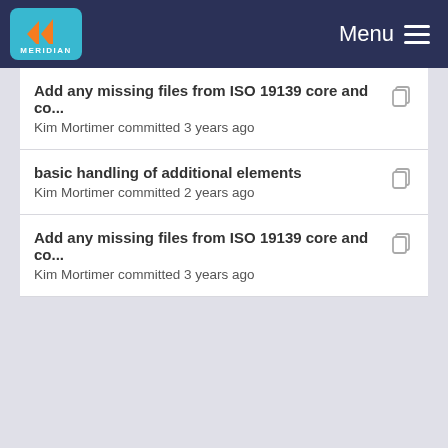MERIDIAN Menu
Add any missing files from ISO 19139 core and co...
Kim Mortimer committed 3 years ago
basic handling of additional elements
Kim Mortimer committed 2 years ago
Add any missing files from ISO 19139 core and co...
Kim Mortimer committed 3 years ago